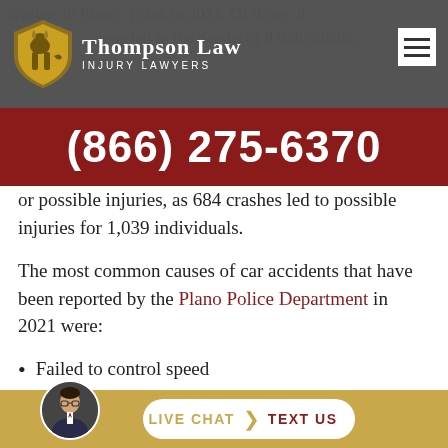Thompson Law Injury Lawyers
crashes in Plano, Texas in 2021. Of those, 9
ions led to the deaths of 9 individuals,
(866) 275-6370
or possible injuries, as 684 crashes led to possible injuries for 1,039 individuals.
The most common causes of car accidents that have been reported by the Plano Police Department in 2021 were:
Failed to control speed
Driver inattention
Ch... (partially visible)
LIVE CHAT | TEXT US